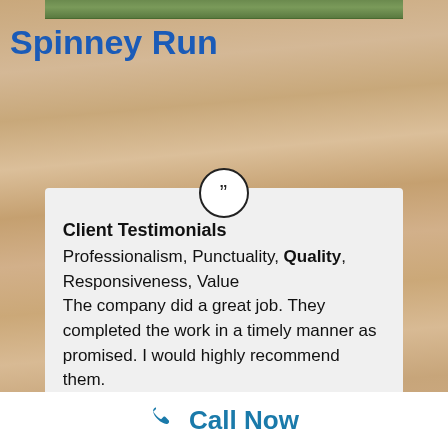[Figure (photo): Partial image strip at top of page showing green/outdoor scene]
Spinney Run
[Figure (illustration): Circle with closing double quotation marks symbol]
Client Testimonials
Professionalism, Punctuality, Quality, Responsiveness, Value
The company did a great job. They completed the work in a timely manner as promised. I would highly recommend them.
Call Now